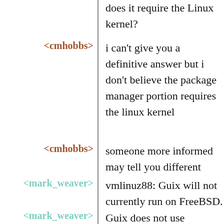does it require the Linux kernel?
<cmhobbs> i can't give you a definitive answer but i don't believe the package manager portion requires the linux kernel
<cmhobbs> someone more informed may tell you different
<mark_weaver> vmlinuz88: Guix will not currently run on FreeBSD.
<mark_weaver> Guix does not use